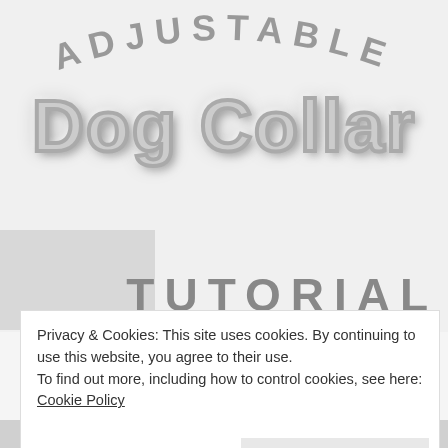[Figure (illustration): Decorative title graphic for 'Adjustable Dog Collar Tutorial' with arched 'ADJUSTABLE' text at top, large cursive 'Dog Collar' in gray script font, and 'TUTORIAL' text below, with a gray rectangle image placeholder at bottom left.]
Privacy & Cookies: This site uses cookies. By continuing to use this website, you agree to their use.
To find out more, including how to control cookies, see here: Cookie Policy
Close and accept
Follow ...